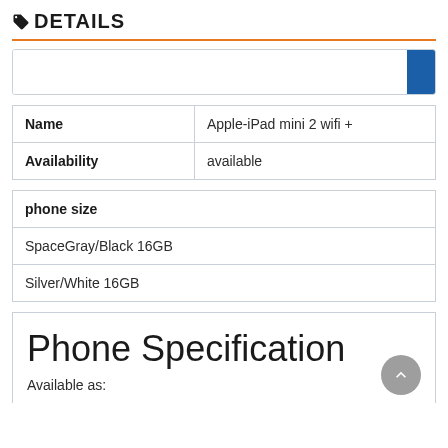DETAILS
[Figure (other): Search input box with blue button on right]
| Name | Apple-iPad mini 2 wifi + |
| Availability | available |
| phone size |
| SpaceGray/Black 16GB |
| Silver/White 16GB |
Phone Specification
Available as: